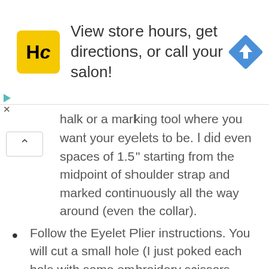[Figure (screenshot): Advertisement banner for a hair salon app (HC logo) with text 'View store hours, get directions, or call your salon!' and a blue navigation/directions diamond icon on the right.]
halk or a marking tool where you want your eyelets to be. I did even spaces of 1.5" starting from the midpoint of shoulder strap and marked continuously all the way around (even the collar).
Follow the Eyelet Plier instructions. You will cut a small hole (I just poked each hole with some embroidery scissors because the jersey will stretch so don't cut large holes (a small poke will do). Then place the eyelets into the holes and secure with the pliers.
Once done with either ways tie some string in the back to create a racer back. I started at the bottom 2 and laced string in and out till I got to about the midpoint of the shoulder. I used some jersey knit scraps and cut a 1/2" x 20" strip and